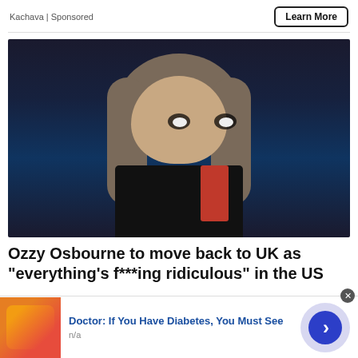Kachava | Sponsored
Learn More
[Figure (photo): Portrait photo of Ozzy Osbourne with long grey-brown hair, heavy black eye makeup, wearing a black jacket with a red accent and gold chain, against a dark background.]
Ozzy Osbourne to move back to UK as "everything's f***ing ridiculous" in the US
[Figure (photo): Advertisement thumbnail showing orange and red gummy candy pieces.]
Doctor: If You Have Diabetes, You Must See
n/a